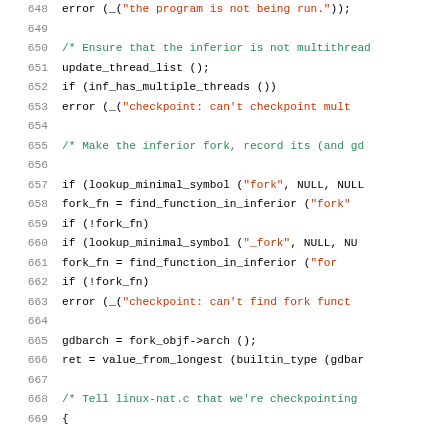[Figure (screenshot): Source code listing lines 648-669 showing C code for checkpoint function with syntax highlighting. Line numbers in grey on left, comments in green, string literals in red/orange, regular code in black. Monospace font on white background.]